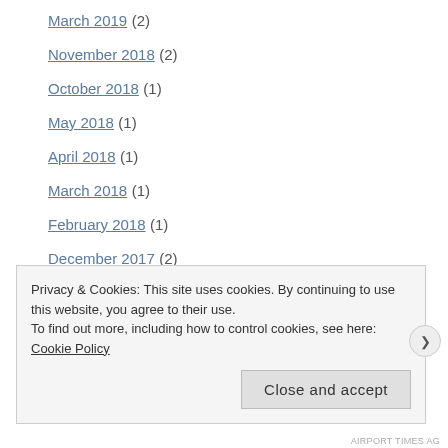March 2019 (2)
November 2018 (2)
October 2018 (1)
May 2018 (1)
April 2018 (1)
March 2018 (1)
February 2018 (1)
December 2017 (2)
September 2017 (1)
Privacy & Cookies: This site uses cookies. By continuing to use this website, you agree to their use. To find out more, including how to control cookies, see here: Cookie Policy
Close and accept
AIRPORT TIMES AG